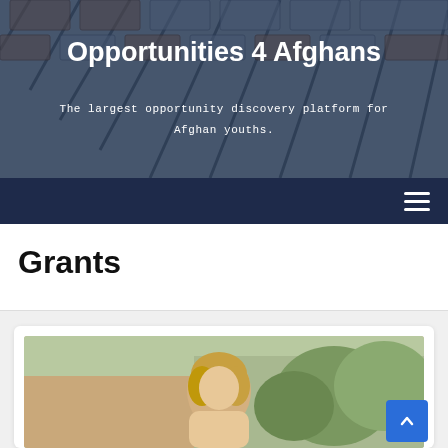[Figure (photo): Hero background showing a modern building with geometric window patterns in blue and brown tones]
Opportunities 4 Afghans
The largest opportunity discovery platform for Afghan youths.
[Figure (other): Navigation bar with hamburger menu icon on dark navy background]
Grants
[Figure (photo): Card with a photo of a person, partial view at bottom of page, with a back-to-top button]